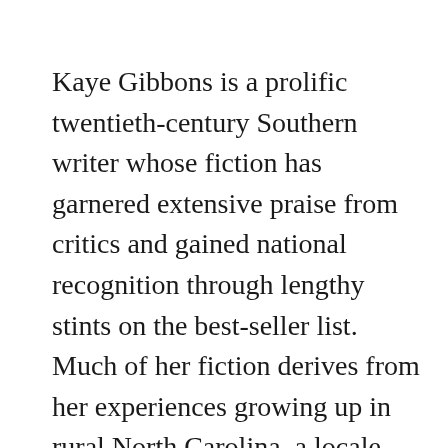Kaye Gibbons is a prolific twentieth-century Southern writer whose fiction has garnered extensive praise from critics and gained national recognition through lengthy stints on the best-seller list. Much of her fiction derives from her experiences growing up in rural North Carolina, a locale which also provides the setting for her novels. She most often writes about women's efforts to become self-reliant despite the restrictive nature of Southern culture, and her use of this theme illustrates the importance of communal support in the development of female